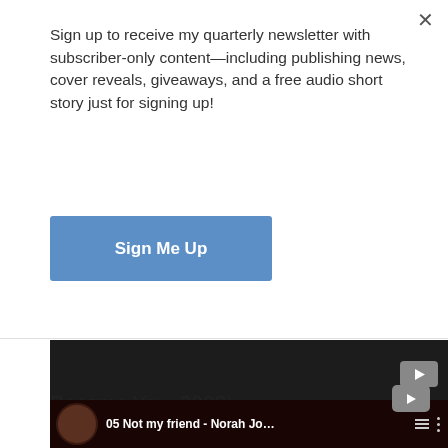Sign up to receive my quarterly newsletter with subscriber-only content—including publishing news, cover reveals, giveaways, and a free audio short story just for signing up!
[Figure (screenshot): Blue 'Sign Me Up' button for newsletter signup]
[Figure (screenshot): Dark/black YouTube video player embed, partially visible, with YouTube play button icon in lower right]
6. Deconstruction – Indigo Girls (from Become You, 2002)
[Figure (screenshot): Bottom video thumbnail showing '05 Not my friend - Norah Jo...' with a dark red background, person visible, with playlist and menu icons]